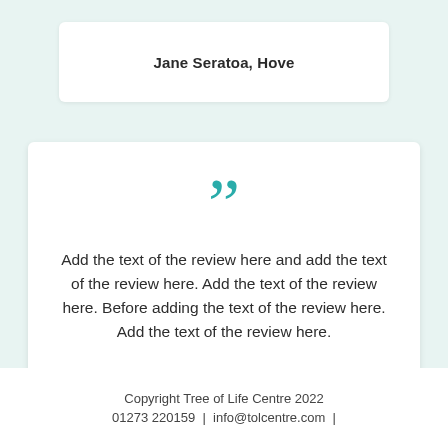Jane Seratoa, Hove
Add the text of the review here and add the text of the review here. Add the text of the review here. Before adding the text of the review here. Add the text of the review here.
Jane Seratoa, Hove
Copyright Tree of Life Centre 2022
01273 220159  |  info@tolcentre.com  |